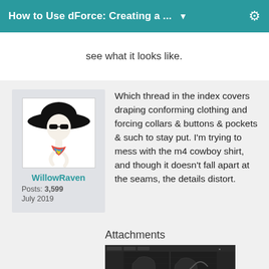How to Use dForce: Creating a ...
see what it looks like.
[Figure (illustration): User avatar: stylized black and white illustration of a woman with a wide-brim black hat and sunglasses, colorful scarf detail]
WillowRaven
Posts: 3,599
July 2019
Which thread in the index covers draping conforming clothing and forcing collars & buttons & pockets & such to stay put. I'm trying to mess with the m4 cowboy shirt, and though it doesn't fall apart at the seams, the details distort.
Attachments
[Figure (screenshot): Screenshot of a 3D software application window showing a dark interface with a 3D model being worked on]